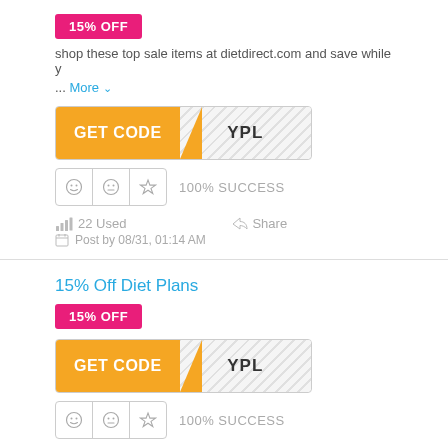15% OFF
shop these top sale items at dietdirect.com and save while y
... More
[Figure (other): GET CODE button with YPL coupon code, orange button with hatched right side]
100% SUCCESS
22 Used   Share
Post by 08/31, 01:14 AM
15% Off Diet Plans
15% OFF
[Figure (other): GET CODE button with YPL coupon code, orange button with hatched right side]
100% SUCCESS